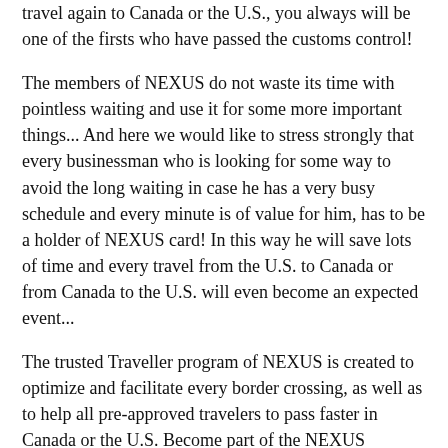travel again to Canada or the U.S., you always will be one of the firsts who have passed the customs control!
The members of NEXUS do not waste its time with pointless waiting and use it for some more important things... And here we would like to stress strongly that every businessman who is looking for some way to avoid the long waiting in case he has a very busy schedule and every minute is of value for him, has to be a holder of NEXUS card! In this way he will save lots of time and every travel from the U.S. to Canada or from Canada to the U.S. will even become an expected event...
The trusted Traveller program of NEXUS is created to optimize and facilitate every border crossing, as well as to help all pre-approved travelers to pass faster in Canada or the U.S. Become part of the NEXUS program and travel better, easier and more comfortable. Do not hesitate to use the NEXUS cards and recommend them to your friends and even to some of the people you know by sight – all they have to try this amazing way of movement!